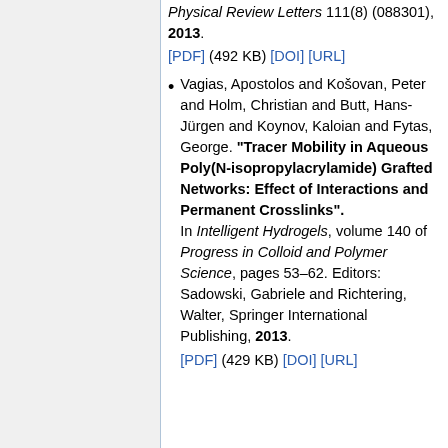Physical Review Letters 111(8) (088301), 2013. [PDF] (492 KB) [DOI] [URL]
Vagias, Apostolos and Košovan, Peter and Holm, Christian and Butt, Hans-Jürgen and Koynov, Kaloian and Fytas, George. "Tracer Mobility in Aqueous Poly(N-isopropylacrylamide) Grafted Networks: Effect of Interactions and Permanent Crosslinks". In Intelligent Hydrogels, volume 140 of Progress in Colloid and Polymer Science, pages 53–62. Editors: Sadowski, Gabriele and Richtering, Walter, Springer International Publishing, 2013. [PDF] (429 KB) [DOI] [URL]